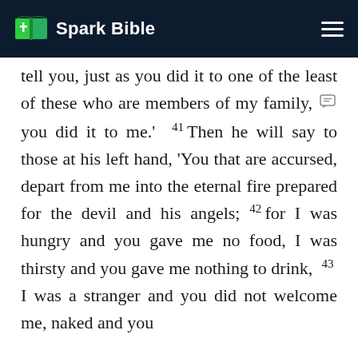Spark Bible
tell you, just as you did it to one of the least of these who are members of my family, you did it to me.' 41 Then he will say to those at his left hand, 'You that are accursed, depart from me into the eternal fire prepared for the devil and his angels; 42 for I was hungry and you gave me no food, I was thirsty and you gave me nothing to drink, 43 I was a stranger and you did not welcome me, naked and you